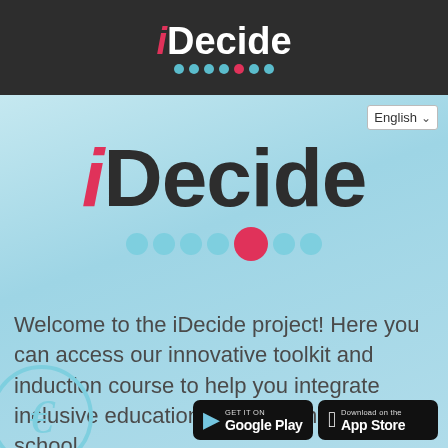[Figure (logo): iDecide logo on dark background header bar with colored dots (teal and pink) below the text]
[Figure (screenshot): iDecide web app interface showing large iDecide logo on light blue background with colored dots, English language selector dropdown, welcome text, a partial circular icon, and Google Play / App Store download badges]
Welcome to the iDecide project! Here you can access our innovative toolkit and induction course to help you integrate inclusive education practices in your school.